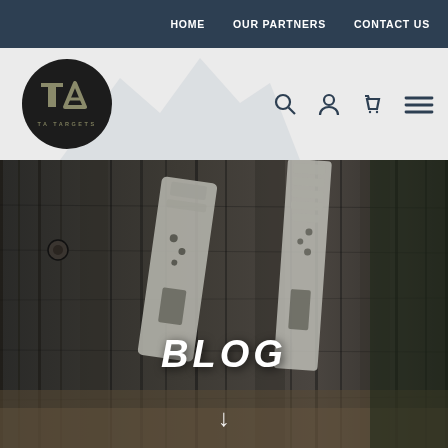HOME  OUR PARTNERS  CONTACT US
[Figure (logo): TA Targets logo — dark circle with 'TA' monogram and 'TA TARGETS' text beneath, set against a light grey header strip with faint mountain silhouette]
[Figure (photo): Full-width hero photo: two grey steel shooting targets leaning against weathered wooden barn planks, with gravel ground and green foliage in background, black and white / desaturated tone. Large bold italic 'BLOG' text overlay centered in the image, with a downward arrow below it.]
BLOG